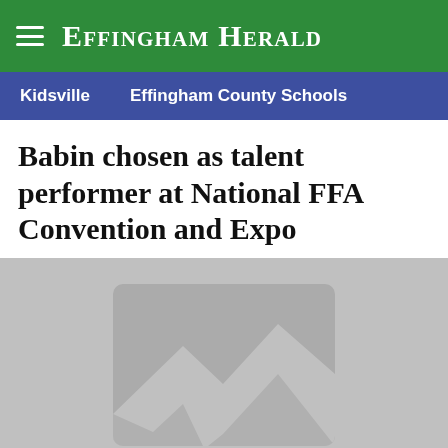Effingham Herald
Kidsville   Effingham County Schools
Babin chosen as talent performer at National FFA Convention and Expo
[Figure (photo): Placeholder image with mountain/landscape silhouette icon on grey background]